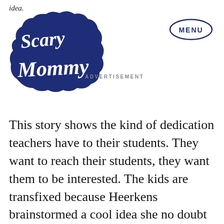idea. Scary Mommy | ADVERTISEMENT | MENU
This story shows the kind of dedication teachers have to their students. They want to reach their students, they want them to be interested. The kids are transfixed because Heerkens brainstormed a cool idea she no doubt used her own time and money to execute. The story is trending because it's not every day